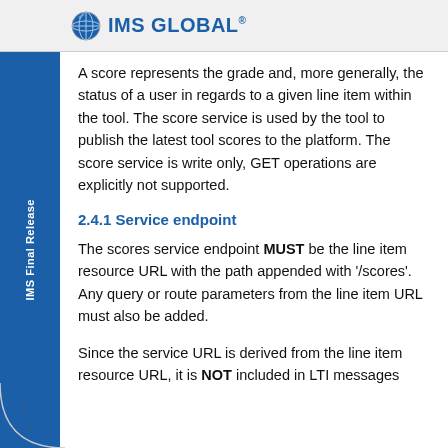IMS GLOBAL
A score represents the grade and, more generally, the status of a user in regards to a given line item within the tool. The score service is used by the tool to publish the latest tool scores to the platform. The score service is write only, GET operations are explicitly not supported.
2.4.1 Service endpoint
The scores service endpoint MUST be the line item resource URL with the path appended with '/scores'. Any query or route parameters from the line item URL must also be added.
Since the service URL is derived from the line item resource URL, it is NOT included in LTI messages